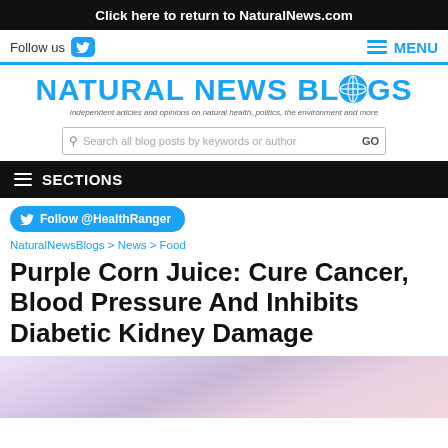Click here to return to NaturalNews.com
Follow us  MENU
[Figure (logo): Natural News Blogs logo with globe icon and tagline: independent articles and opinions on natural health, politics, the environment and more]
Search all blog posts by keywords or author  GO
SECTIONS
Follow @HealthRanger
NaturalNewsBlogs > News > Food
Purple Corn Juice: Cure Cancer, Blood Pressure And Inhibits Diabetic Kidney Damage
[Figure (photo): Blurred purple/lavender background image, presumably purple corn juice related]